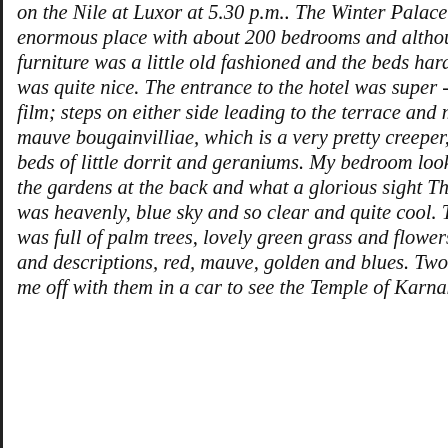on the Nile at Luxor at 5.30 p.m.. The Winter Palace is an enormous place with about 200 bedrooms and although the furniture was a little old fashioned and the beds hard it really was quite nice. The entrance to the hotel was super - just like a film; steps on either side leading to the terrace and masses of mauve bougainvilliae, which is a very pretty creeper, also flower beds of little dorrit and geraniums. My bedroom looked out onto the gardens at the back and what a glorious sight The evening was heavenly, blue sky and so clear and quite cool. The garden, was full of palm trees, lovely green grass and flowers of all sorts and descriptions, red, mauve, golden and blues. Two men rushed me off with them in a car to see the Temple of Karnak